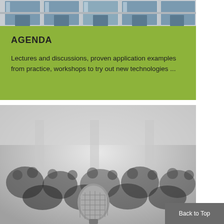[Figure (photo): Exterior of a modern building with large glass windows and entrance doors, viewed from outside]
AGENDA
Lectures and discussions, proven application examples from practice, workshops to try out new technologies ...
[Figure (photo): Blurred conference audience with a microphone in the foreground, people seated in the background]
Back to Top